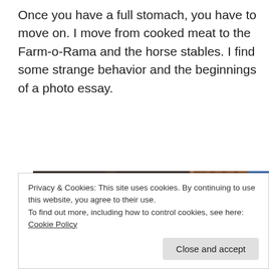Once you have a full stomach, you have to move on. I move from cooked meat to the Farm-o-Rama and the horse stables. I find some strange behavior and the beginnings of a photo essay.
[Figure (photo): Photo inside a horse stable showing people: a woman drinking from a can, another person in a cap, a child in a striped hat sitting, and a sign reading 'Silvermine Farm' on a wooden wall. Partially visible blue sleeve and red glove in foreground right.]
Privacy & Cookies: This site uses cookies. By continuing to use this website, you agree to their use.
To find out more, including how to control cookies, see here: Cookie Policy